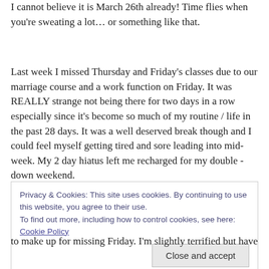I cannot believe it is March 26th already! Time flies when you're sweating a lot… or something like that.
Last week I missed Thursday and Friday's classes due to our marriage course and a work function on Friday. It was REALLY strange not being there for two days in a row especially since it's become so much of my routine / life in the past 28 days. It was a well deserved break though and I could feel myself getting tired and sore leading into mid-week. My 2 day hiatus left me recharged for my double - down weekend.
Privacy & Cookies: This site uses cookies. By continuing to use this website, you agree to their use.
To find out more, including how to control cookies, see here: Cookie Policy
to make up for missing Friday. I'm slightly terrified but have